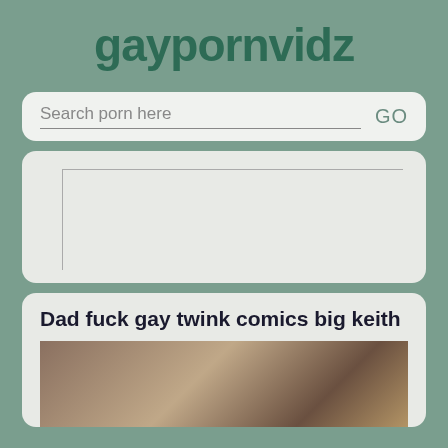gaypornvidz
[Figure (screenshot): Search bar with placeholder text 'Search porn here' and GO button]
[Figure (other): Advertisement placeholder box with L-shaped border lines]
Dad fuck gay twink comics big keith
[Figure (photo): Thumbnail photo of a person lying down, partially visible]